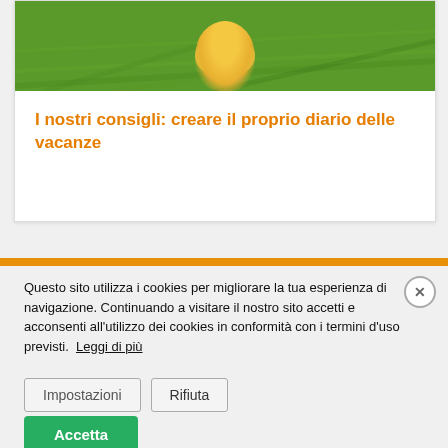[Figure (photo): Child in yellow dress sitting on green grass, viewed from above, using a laptop or book]
I nostri consigli: creare il proprio diario delle vacanze
Questo sito utilizza i cookies per migliorare la tua esperienza di navigazione. Continuando a visitare il nostro sito accetti e acconsenti all'utilizzo dei cookies in conformità con i termini d'uso previsti.  Leggi di più   Impostazioni   Rifiuta
Accetta